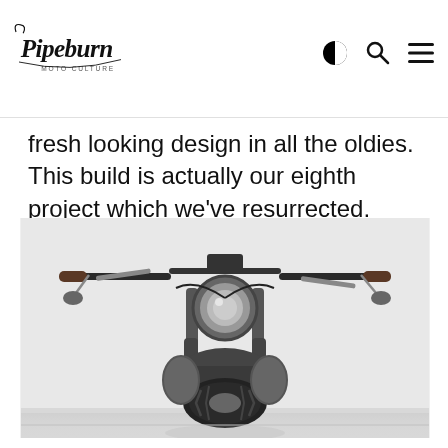Pipeburn Moto Culture
fresh looking design in all the oldies. This build is actually our eighth project which we’ve resurrected.
[Figure (photo): Front-on view of a custom black motorcycle with wide handlebars, round headlight, exposed front forks and tire, photographed against a white studio background with a faint reflection on the floor.]